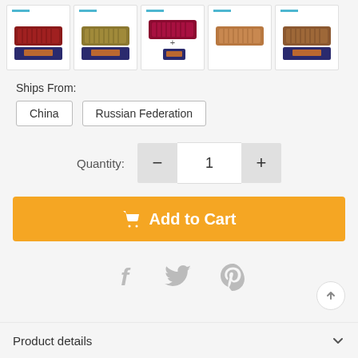[Figure (photo): Row of 5 product thumbnail images showing wallets/purses in different colors (dark red, gold/olive, burgundy red, tan/brown, brown) each displayed on a dark blue box, with cyan/teal indicator bars above each thumbnail.]
Ships From:
China
Russian Federation
Quantity: 1
Add to Cart
[Figure (infographic): Social sharing icons: Facebook (f), Twitter (bird), Pinterest (P) in grey]
Product details